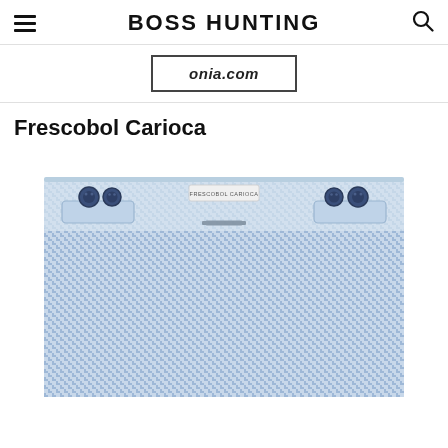BOSS HUNTING
onia.com
Frescobol Carioca
[Figure (photo): Frescobol Carioca swim shorts with blue and white houndstooth/micro pattern fabric, showing the waistband area with dark navy buttons and a small brand label tag reading FRESCOBOL CARIOCA]